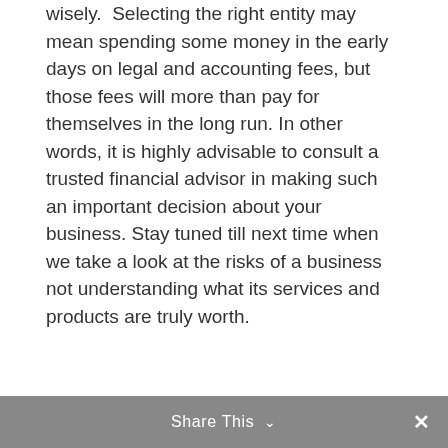wisely. Selecting the right entity may mean spending some money in the early days on legal and accounting fees, but those fees will more than pay for themselves in the long run. In other words, it is highly advisable to consult a trusted financial advisor in making such an important decision about your business. Stay tuned till next time when we take a look at the risks of a business not understanding what its services and products are truly worth.
Share This ∨  ✕